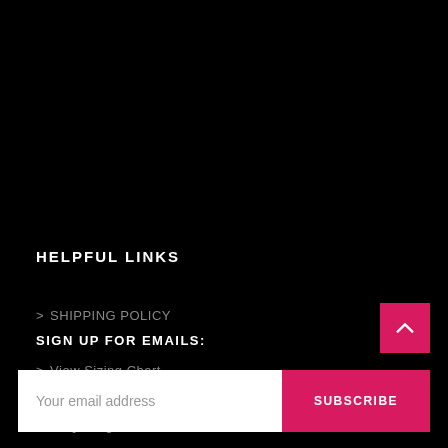HELPFUL LINKS
> SHIPPING POLICY
> View Sizing Chart
> FAQs Page
SIGN UP FOR EMAILS:
Your email address
SUBSCRIBE